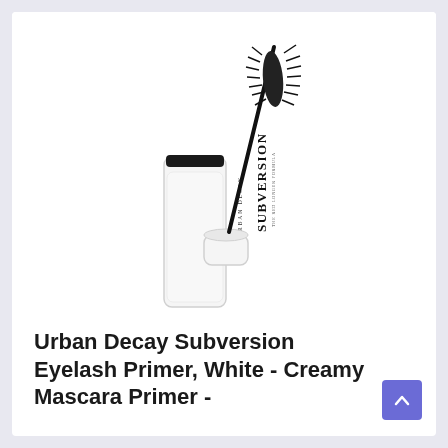[Figure (photo): Urban Decay Subversion Eyelash Primer product photo showing a white mascara tube with black cap open, and the wand applicator with bristles extended upward to the right. The tube has 'URBAN DECAY SUBVERSION' printed vertically in black text.]
Urban Decay Subversion Eyelash Primer, White - Creamy Mascara Primer -